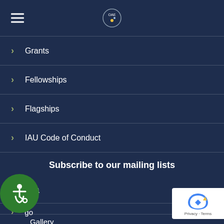IAU OAE navigation header with hamburger menu and logo
Grants
Fellowships
Flagships
IAU Code of Conduct
Subscribe to our mailing lists
Media
go
Gallery
Events
[Figure (logo): Accessibility wheelchair icon button (green circle)]
[Figure (logo): reCAPTCHA privacy badge]